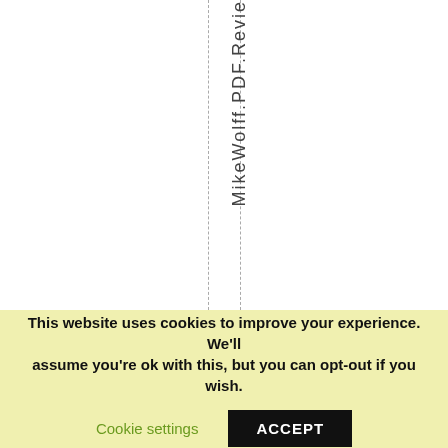MikeWolff.PDF.Revie
This website uses cookies to improve your experience. We'll assume you're ok with this, but you can opt-out if you wish.
Cookie settings
ACCEPT